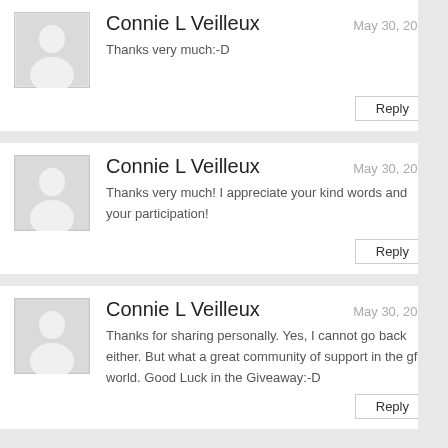Connie L Veilleux — May 30, 2012 — Thanks very much:-D
Connie L Veilleux — May 30, 2012 — Thanks very much! I appreciate your kind words and your participation!
Connie L Veilleux — May 30, 2012 — Thanks for sharing personally. Yes, I cannot go back either. But what a great community of support in the gf world. Good Luck in the Giveaway:-D